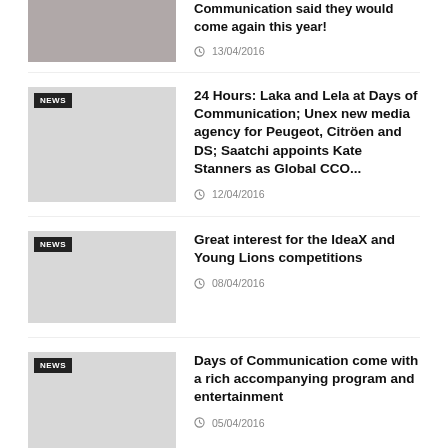[Figure (photo): Partial top-cropped thumbnail of a person with a scarf]
Communication said they would come again this year!
13/04/2016
[Figure (photo): Gray placeholder thumbnail with NEWS badge]
24 Hours: Laka and Lela at Days of Communication; Unex new media agency for Peugeot, Citröen and DS; Saatchi appoints Kate Stanners as Global CCO...
12/04/2016
[Figure (photo): Gray placeholder thumbnail with NEWS badge]
Great interest for the IdeaX and Young Lions competitions
08/04/2016
[Figure (photo): Gray placeholder thumbnail with NEWS badge]
Days of Communication come with a rich accompanying program and entertainment
05/04/2016